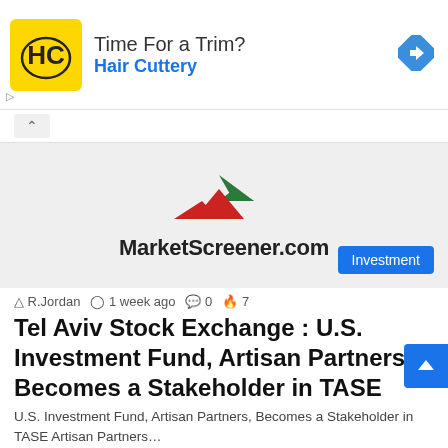[Figure (logo): Hair Cuttery advertisement banner with HC logo in yellow square, text 'Time For a Trim?' and 'Hair Cuttery' in blue, with navigation arrow icon]
[Figure (logo): MarketScreener.com advertisement with green and red logo mark above the wordmark 'MarketScreener.com' on grey background, with blue 'Investment' badge]
R.Jordan  1 week ago  0  7
Tel Aviv Stock Exchange : U.S. Investment Fund, Artisan Partners, Becomes a Stakeholder in TASE
U.S. Investment Fund, Artisan Partners, Becomes a Stakeholder in TASE Artisan Partners…